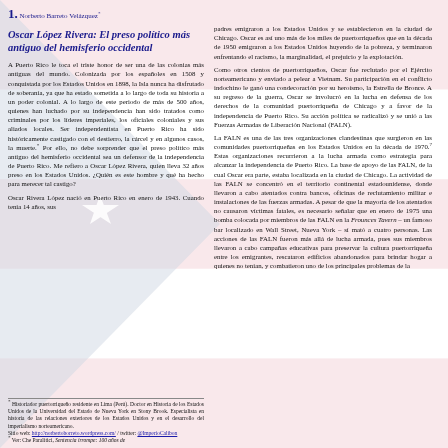1. Norberto Barreto Velázquez*
Oscar López Rivera: El preso político más antiguo del hemisferio occidental
A Puerto Rico le toca el triste honor de ser una de las colonias más antiguas del mundo. Colonizada por los españoles en 1508 y conquistada por los Estados Unidos en 1898, la Isla nunca ha disfrutado de soberanía, ya que ha estado sometida a lo largo de toda su historia a un poder colonial. A lo largo de este periodo de más de 500 años, quienes han luchado por su independencia han sido tratados como criminales por los líderes imperiales, los oficiales coloniales y sus aliados locales. Ser independentista en Puerto Rico ha sido históricamente castigado con el destierro, la cárcel y en algunos casos, la muerte.* Por ello, no debe sorprender que el preso político más antiguo del hemisferio occidental sea un defensor de la independencia de Puerto Rico. Me refiero a Oscar López Rivera, quien lleva 32 años preso en los Estados Unidos. ¿Quién es este hombre y qué ha hecho para merecer tal castigo?
Oscar Rivera López nació en Puerto Rico en enero de 1943. Cuando tenía 14 años, sus padres emigraron a los Estados Unidos y se establecieron en la ciudad de Chicago. Oscar es así uno más de los miles de puertorriqueños que en la década de 1950 emigraron a los Estados Unidos huyendo de la pobreza, y terminaron enfrentando el racismo, la marginalidad, el prejuicio y la explotación.
Como otros cientos de puertorriqueños, Oscar fue reclutado por el Ejército norteamericano y enviado a pelear a Vietnam. Su participación en el conflicto indochino le ganó una condecoración por su heroísmo, la Estrella de Bronce. A su regreso de la guerra, Oscar se involucró en la lucha en defensa de los derechos de la comunidad puertorriqueña de Chicago y a favor de la independencia de Puerto Rico. Su acción política se radicalizó y se unió a las Fuerzas Armadas de Liberación Nacional (FALN).
La FALN es una de las tres organizaciones clandestinas que surgieron en las comunidades puertorriqueñas en los Estados Unidos en la década de 1970.7 Estas organizaciones recurrieron a la lucha armada como estrategia para alcanzar la independencia de Puerto Rico. La base de apoyo de las FALN, de la cual Oscar era parte, estaba localizada en la ciudad de Chicago. La actividad de las FALN se concentró en el territorio continental estadounidense, donde llevaron a cabo atentados contra bancos, oficinas de reclutamiento militar e instalaciones de las fuerzas armadas. A pesar de que la mayoría de los atentados no causaron víctimas fatales, es necesario señalar que en enero de 1975 una bomba colocada por miembros de las FALN en la Frounces Tavern – un famoso bar localizado en Wall Street, Nueva York – sí mató a cuatro personas. Las acciones de las FALN fueron más allá de lucha armada, pues sus miembros llevaron a cabo campañas educativas para preservar la cultura puertorriqueña entre los emigrantes, rescataron edificios abandonados para brindar hogar a quienes no tenían, y combatieron uno de los principales problemas de la
* Historiador puertorriqueño residente en Lima (Perú). Doctor en Historia de los Estados Unidos de la Universidad del Estado de Nueva York en Stony Brook. Especialista en historia de las relaciones exteriores de los Estados Unidos y en el desarrollo del imperialismo norteamericano.
Sitio web: http://norbertoborreto.wordpress.com/ twitter: @ImperioCalibon
* Ver: Che Paralitici, Sentencia irrompe: 100 años de